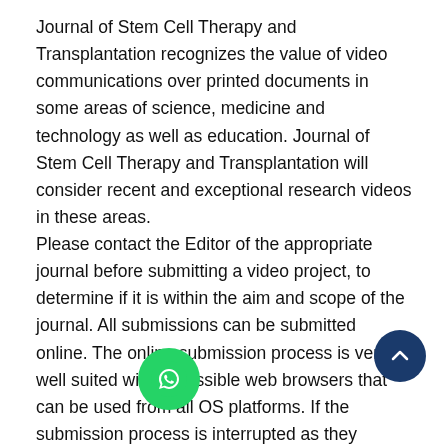Journal of Stem Cell Therapy and Transplantation recognizes the value of video communications over printed documents in some areas of science, medicine and technology as well as education. Journal of Stem Cell Therapy and Transplantation will consider recent and exceptional research videos in these areas. Please contact the Editor of the appropriate journal before submitting a video project, to determine if it is within the aim and scope of the journal. All submissions can be submitted online. The online submission process is very well suited with accessible web browsers that can be used from all OS platforms. If the submission process is interrupted as they submit their work, they can carry on where they left off. Files can be submitted as an archive file or individual file.
Research/Review Articles: